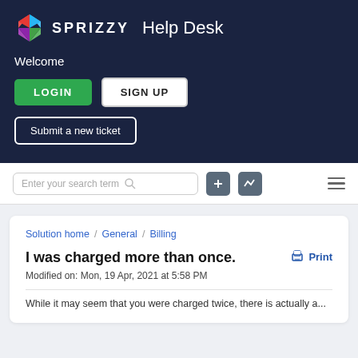SPRIZZY Help Desk
Welcome
LOGIN | SIGN UP
Submit a new ticket
Enter your search term
Solution home / General / Billing
I was charged more than once.
Modified on: Mon, 19 Apr, 2021 at 5:58 PM
While it may seem that you were charged twice, there is actually a...